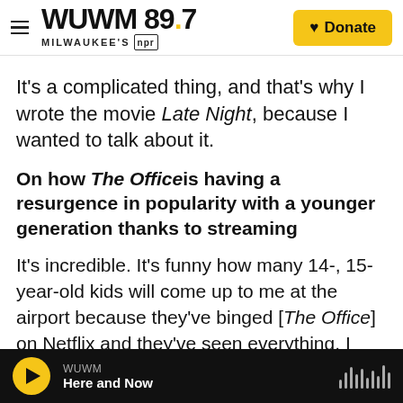WUWM 89.7 Milwaukee's NPR — Donate
It's a complicated thing, and that's why I wrote the movie Late Night, because I wanted to talk about it.
On how The Office is having a resurgence in popularity with a younger generation thanks to streaming
It's incredible. It's funny how many 14-, 15-year-old kids will come up to me at the airport because they've binged [The Office] on Netflix and they've seen everything. I remember about three or four years ago, I got a call from one of my agents saying, "Hey, this young singer-songwriter would love to sample a section of one of your episodes...
WUWM — Here and Now